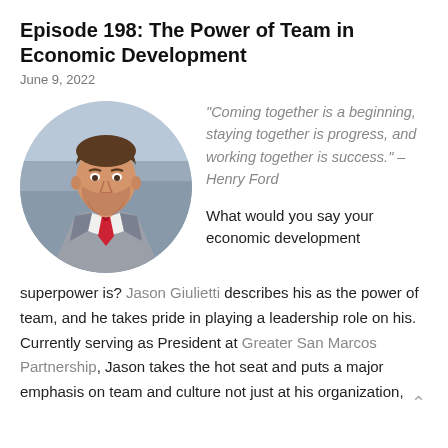Episode 198: The Power of Team in Economic Development
June 9, 2022
[Figure (photo): Circular headshot photo of Jason Giulietti, a smiling man in a grey suit with red tie, photographed outdoors with blurred background.]
“Coming together is a beginning, staying together is progress, and working together is success.” – Henry Ford
What would you say your economic development superpower is? Jason Giulietti describes his as the power of team, and he takes pride in playing a leadership role on his. Currently serving as President at Greater San Marcos Partnership, Jason takes the hot seat and puts a major emphasis on team and culture not just at his organization,